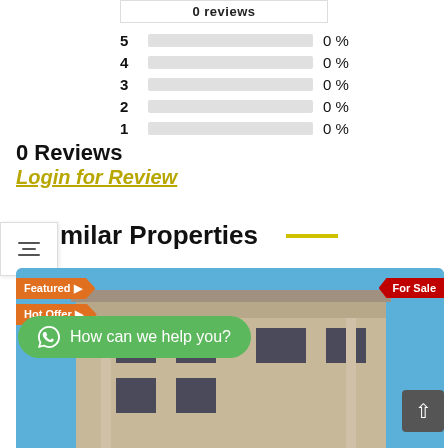[Figure (bar-chart): 0 Reviews]
0 Reviews
Login for Review
milar Properties
[Figure (photo): Property listing photo showing a modern house with Featured, Hot Offer, and For Sale badges]